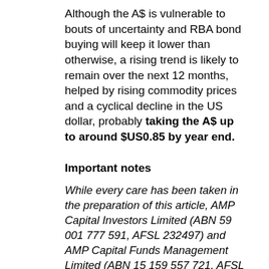Although the A$ is vulnerable to bouts of uncertainty and RBA bond buying will keep it lower than otherwise, a rising trend is likely to remain over the next 12 months, helped by rising commodity prices and a cyclical decline in the US dollar, probably taking the A$ up to around $US0.85 by year end.
Important notes
While every care has been taken in the preparation of this article, AMP Capital Investors Limited (ABN 59 001 777 591, AFSL 232497) and AMP Capital Funds Management Limited (ABN 15 159 557 721, AFSL 426455)  (AMP Capital) makes no representations or warranties as to the accuracy or completeness of any statement in it including, without limitation, any forecasts. Past performance is not a reliable indicator of future performance. This article has been prepared for